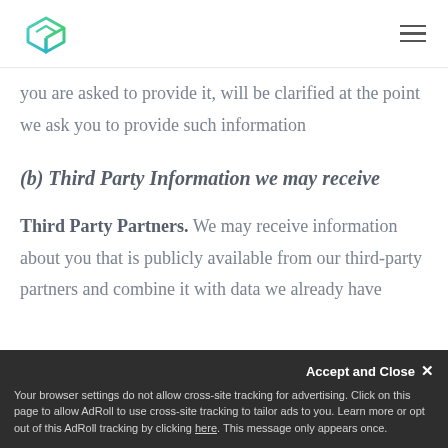[Figure (logo): Stackby logo: geometric box icon in teal/green gradient]
you are asked to provide it, will be clarified at the point we ask you to provide such information
(b) Third Party Information we may receive
Third Party Partners. We may receive information about you that is publicly available from our third-party partners and combine it with data we already have
Accept and Close ×
Your browser settings do not allow cross-site tracking for advertising. Click on this page to allow AdRoll to use cross-site tracking to tailor ads to you. Learn more or opt out of this AdRoll tracking by clicking here. This message only appears once.